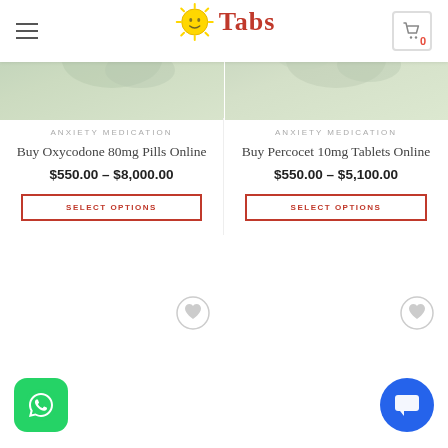Tabs - online pharmacy website header with logo and cart
[Figure (screenshot): Product image for Buy Oxycodone 80mg Pills Online (left side, green/grey tones)]
[Figure (screenshot): Product image for Buy Percocet 10mg Tablets Online (right side, green/grey tones)]
ANXIETY MEDICATION
Buy Oxycodone 80mg Pills Online
$550.00 – $8,000.00
SELECT OPTIONS
ANXIETY MEDICATION
Buy Percocet 10mg Tablets Online
$550.00 – $5,100.00
SELECT OPTIONS